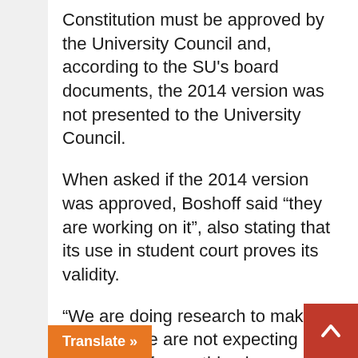Constitution must be approved by the University Council and, according to the SU's board documents, the 2014 version was not presented to the University Council.
When asked if the 2014 version was approved, Boshoff said “they are working on it”, also stating that its use in student court proves its validity.
“We are doing research to make sure, but we are not expecting it to be wrong. If something is wrong, it’s only changes made since 2011. But I doubt that this is the case,” he said.
Changes have been made to amend clauses which, according to the 2011 Constitution, cannot be changed without a referendum.